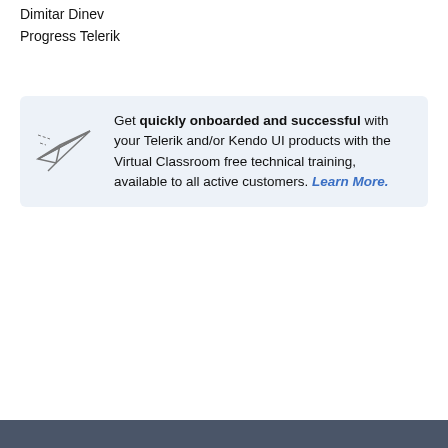Dimitar Dinev
Progress Telerik
Get quickly onboarded and successful with your Telerik and/or Kendo UI products with the Virtual Classroom free technical training, available to all active customers. Learn More.
Add a comment
0